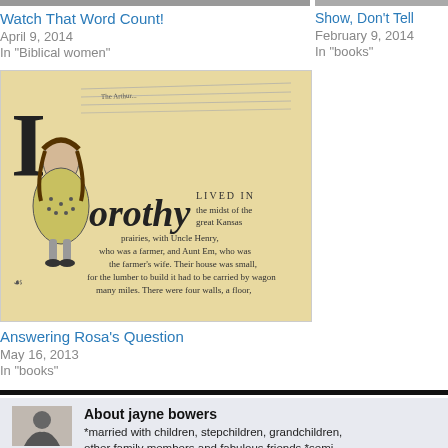[Figure (photo): Top portion of a building or structure image (cropped at top)]
Watch That Word Count!
April 9, 2014
In "Biblical women"
[Figure (photo): Vintage illustration from The Wizard of Oz showing Dorothy, text reads: Dorothy LIVED IN the midst of the great Kansas prairies, with Uncle Henry, who was a farmer, and Aunt Em, who was the farmer's wife. Their house was small, for the lumber to build it had to be carried by wagon many miles.]
Answering Rosa's Question
May 16, 2013
In "books"
Show, Don't Tell
February 9, 2014
In "books"
About jayne bowers
*married with children, stepchildren, grandchildren, other family members and fabulous friends *semi- community colleges *writer
[Figure (photo): Black and white photo of author jayne bowers]